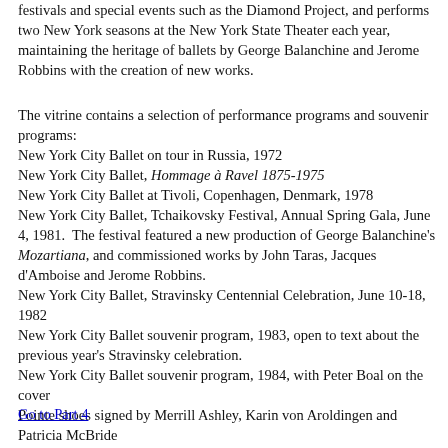festivals and special events such as the Diamond Project, and performs two New York seasons at the New York State Theater each year, maintaining the heritage of ballets by George Balanchine and Jerome Robbins with the creation of new works.
The vitrine contains a selection of performance programs and souvenir programs:
New York City Ballet on tour in Russia, 1972
New York City Ballet, Hommage à Ravel 1875-1975
New York City Ballet at Tivoli, Copenhagen, Denmark, 1978
New York City Ballet, Tchaikovsky Festival, Annual Spring Gala, June 4, 1981. The festival featured a new production of George Balanchine's Mozartiana, and commissioned works by John Taras, Jacques d'Amboise and Jerome Robbins.
New York City Ballet, Stravinsky Centennial Celebration, June 10-18, 1982
New York City Ballet souvenir program, 1983, open to text about the previous year's Stravinsky celebration.
New York City Ballet souvenir program, 1984, with Peter Boal on the cover
Pointe shoes signed by Merrill Ashley, Karin von Aroldingen and Patricia McBride
Go to Part 4